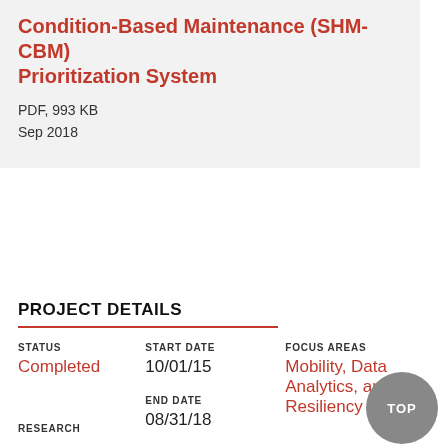Condition-Based Maintenance (SHM-CBM) Prioritization System
PDF, 993 KB
Sep 2018
PROJECT DETAILS
STATUS
Completed
START DATE
10/01/15
END DATE
08/31/18
FOCUS AREAS
Mobility, Data Analytics, and Resiliency
RESEARCH